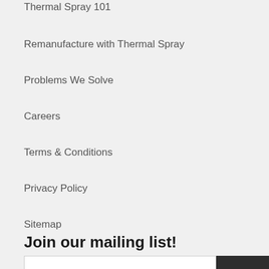Thermal Spray 101
Remanufacture with Thermal Spray
Problems We Solve
Careers
Terms & Conditions
Privacy Policy
Sitemap
Join our mailing list!